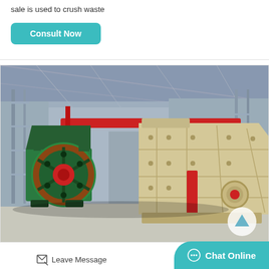sale is used to crush waste
Consult Now
[Figure (photo): Industrial factory floor showing two large crushing machines: a green jaw crusher on the left with a prominent circular flywheel, and a large beige/cream impact crusher on the right, both inside a large industrial workshop with steel structure roof.]
Leave Message
Chat Online